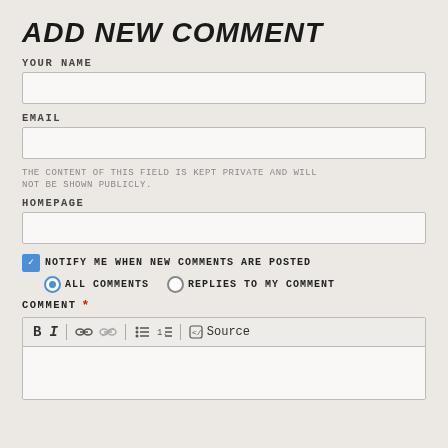ADD NEW COMMENT
YOUR NAME
[Figure (screenshot): Text input field for 'Your Name']
EMAIL
[Figure (screenshot): Text input field for 'Email']
THE CONTENT OF THIS FIELD IS KEPT PRIVATE AND WILL NOT BE SHOWN PUBLICLY.
HOMEPAGE
[Figure (screenshot): Text input field for 'Homepage']
NOTIFY ME WHEN NEW COMMENTS ARE POSTED
ALL COMMENTS   REPLIES TO MY COMMENT
COMMENT *
[Figure (screenshot): Rich text editor with toolbar buttons: Bold, Italic, Link, Unlink, Bullet list, Numbered list, Source]